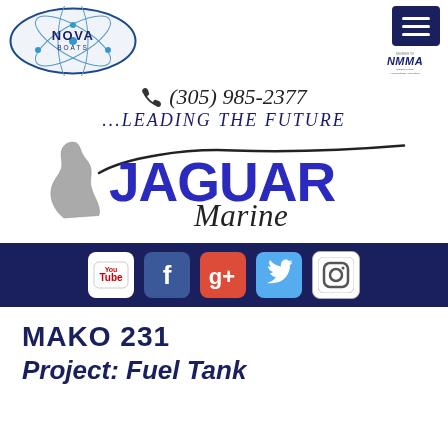[Figure (logo): Nova Boats oval logo with atom graphic and text 'NOVA BOATS']
[Figure (logo): Navy blue hamburger menu button (three horizontal lines)]
[Figure (logo): NMMA (National Marine Manufacturers Association) member logo]
(305) 985-2377
...LEADING THE FUTURE
[Figure (logo): Jaguar Marine logo with jaguar head graphic and stylized text]
[Figure (infographic): Social media bar with YouTube, Facebook, Google+, Twitter, Instagram icons on dark navy background]
MAKO 231
Project: Fuel Tank
Replacement